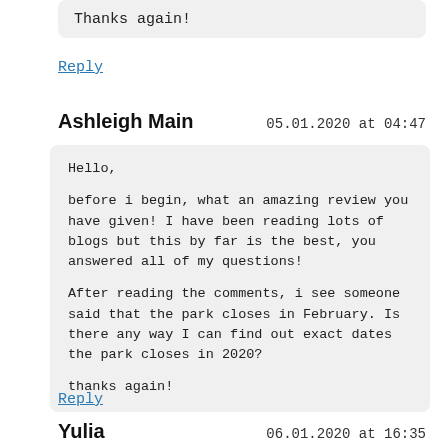Thanks again!
Reply
Ashleigh Main    05.01.2020 at 04:47
Hello,

before i begin, what an amazing review you have given! I have been reading lots of blogs but this by far is the best, you answered all of my questions!

After reading the comments, i see someone said that the park closes in February. Is there any way I can find out exact dates the park closes in 2020?

thanks again!
Reply
Yulia    06.01.2020 at 16:35